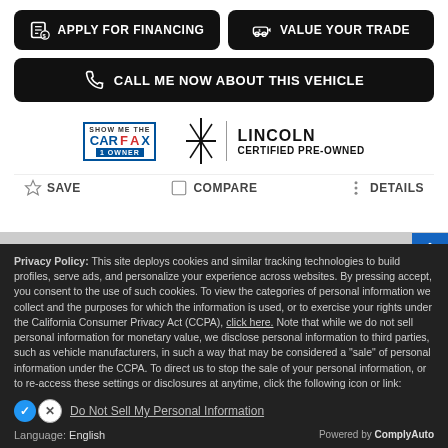[Figure (screenshot): Apply for Financing button (black, rounded)]
[Figure (screenshot): Value Your Trade button (black, rounded)]
[Figure (screenshot): Call Me Now About This Vehicle button (black, full width)]
[Figure (logo): Carfax Show Me The Carfax 1 Owner logo]
[Figure (logo): Lincoln Certified Pre-Owned logo]
SAVE   COMPARE   DETAILS
Privacy Policy: This site deploys cookies and similar tracking technologies to build profiles, serve ads, and personalize your experience across websites. By pressing accept, you consent to the use of such cookies. To view the categories of personal information we collect and the purposes for which the information is used, or to exercise your rights under the California Consumer Privacy Act (CCPA), click here. Note that while we do not sell personal information for monetary value, we disclose personal information to third parties, such as vehicle manufacturers, in such a way that may be considered a "sale" of personal information under the CCPA. To direct us to stop the sale of your personal information, or to re-access these settings or disclosures at anytime, click the following icon or link:
Do Not Sell My Personal Information
Language: English
Powered by ComplyAuto
Accept and Continue →
California Privacy Disclosures